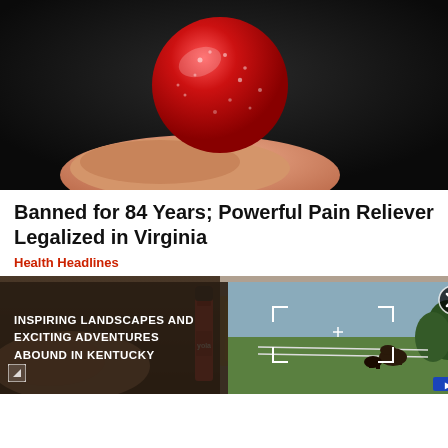[Figure (photo): Close-up of a hand holding a red sugary gummy candy ball against a dark background]
Banned for 84 Years; Powerful Pain Reliever Legalized in Virginia
Health Headlines
[Figure (photo): Hands holding a Crayola crayon near a wallet with cash]
[Figure (photo): Advertisement overlay showing horses in a Kentucky landscape with text: INSPIRING LANDSCAPES AND EXCITING ADVENTURES ABOUND IN KENTUCKY]